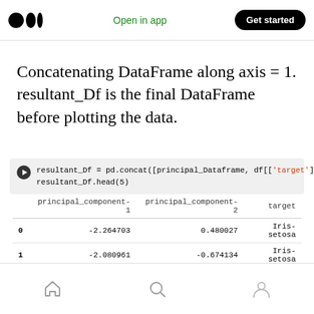Medium logo | Open in app | Get started
Concatenating DataFrame along axis = 1. resultant_Df is the final DataFrame before plotting the data.
[Figure (screenshot): Jupyter notebook code cell: resultant_Df = pd.concat([principal_Dataframe, df[['target']]], axis = 1) and resultant_Df.head(5), followed by DataFrame output table]
|  | principal_component-1 | principal_component-2 | target |
| --- | --- | --- | --- |
| 0 | -2.264703 | 0.480027 | Iris-setosa |
| 1 | -2.080961 | -0.674134 | Iris-setosa |
| 2 | -2.364229 | -0.341908 | Iris-setosa |
| 3 | -2.299384 | -0.597395 | Iris-setosa |
| 4 | -2.389842 | 0.646835 | Iris-setosa |
Home | Search | Profile